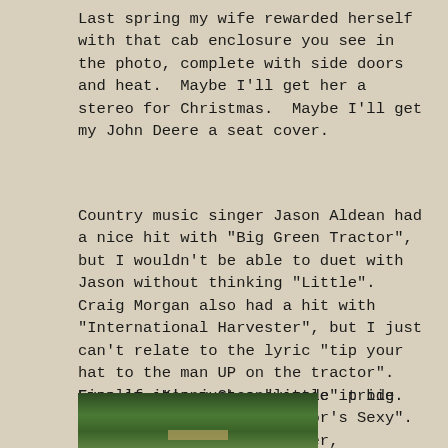Last spring my wife rewarded herself with that cab enclosure you see in the photo, complete with side doors and heat.  Maybe I'll get her a stereo for Christmas.  Maybe I'll get my John Deere a seat cover.
Country music singer Jason Aldean had a nice hit with "Big Green Tractor", but I wouldn't be able to duet with Jason without thinking "Little".  Craig Morgan also had a hit with "International Harvester", but I just can't relate to the lyric "tip your hat to the man UP on the tractor".  Finally, Kenny Chesney made it big with "She Thinks My Tractor's Sexy".  Okay, now we're talking (er, singing).  Let's assume my wife feels that way about my Deere, shall we?  I'll keep wearing the JD colors to show my pride.
Even if it's just a "little" pride.
[Figure (photo): Partial view of a green tractor or farm equipment in a grassy outdoor setting]